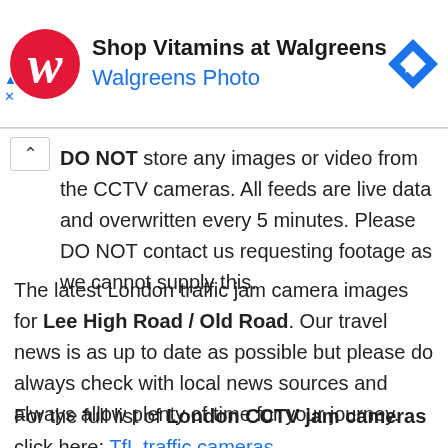[Figure (other): Walgreens advertisement banner with Walgreens logo (red W), text 'Shop Vitamins at Walgreens' and 'Walgreens Photo', and a blue navigation arrow icon on the right.]
DO NOT store any images or video from the CCTV cameras. All feeds are live data and overwritten every 5 minutes. Please DO NOT contact us requesting footage as we cannot supply this.
The latest London traffic jam camera images for Lee High Road / Old Road. Our travel news is as up to date as possible but please do always check with local news sources and always allow plenty of time for your journey.
For the full list of London CCTV jam cameras click here: TfL traffic cameras